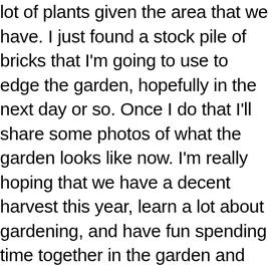lot of plants given the area that we have. I just found a stock pile of bricks that I'm going to use to edge the garden, hopefully in the next day or so. Once I do that I'll share some photos of what the garden looks like now. I'm really hoping that we have a decent harvest this year, learn a lot about gardening, and have fun spending time together in the garden and outdoors.